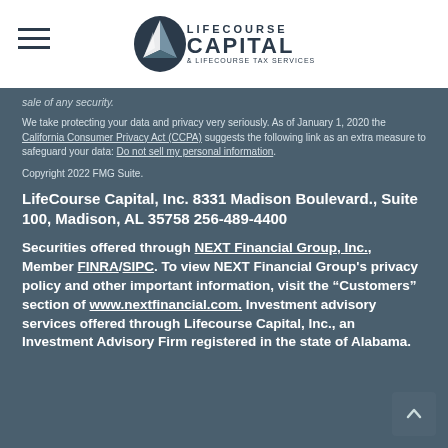LifeCourse Capital logo and navigation
sale of any security.
We take protecting your data and privacy very seriously. As of January 1, 2020 the California Consumer Privacy Act (CCPA) suggests the following link as an extra measure to safeguard your data: Do not sell my personal information.
Copyright 2022 FMG Suite.
LifeCourse Capital, Inc. 8331 Madison Boulevard., Suite 100, Madison, AL 35758 256-489-4400
Securities offered through NEXT Financial Group, Inc., Member FINRA/SIPC. To view NEXT Financial Group's privacy policy and other important information, visit the “Customers” section of www.nextfinancial.com. Investment advisory services offered through Lifecourse Capital, Inc., an Investment Advisory Firm registered in the state of Alabama.